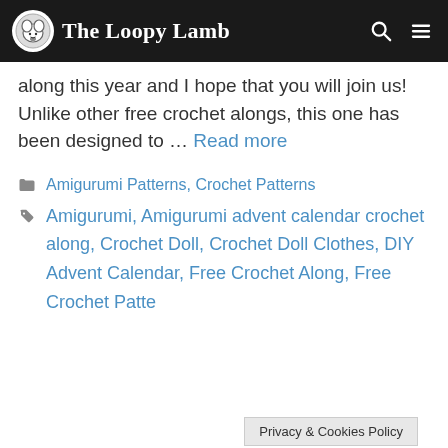The Loopy Lamb
along this year and I hope that you will join us! Unlike other free crochet alongs, this one has been designed to … Read more
Amigurumi Patterns, Crochet Patterns
Amigurumi, Amigurumi advent calendar crochet along, Crochet Doll, Crochet Doll Clothes, DIY Advent Calendar, Free Crochet Along, Free Crochet Patter...
Privacy & Cookies Policy